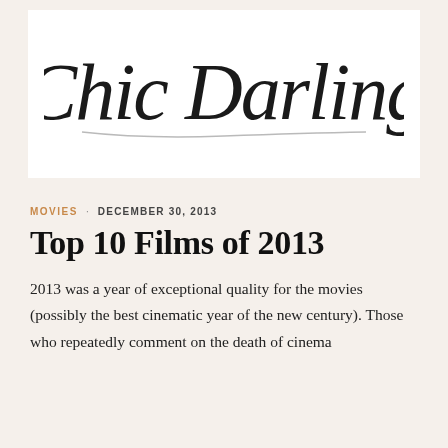[Figure (logo): Chic Darling cursive handwritten logo in black on white background]
MOVIES · DECEMBER 30, 2013
Top 10 Films of 2013
2013 was a year of exceptional quality for the movies (possibly the best cinematic year of the new century). Those who repeatedly comment on the death of cinema